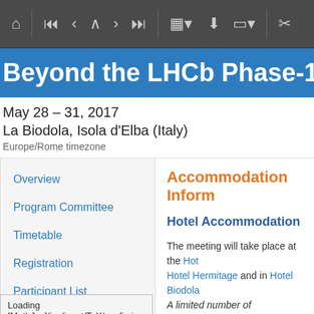[Figure (screenshot): Browser toolbar with navigation icons including home, skip-first, previous, up, next, skip-last, calendar, download, layout, and zoom controls on dark grey background]
Beyond the LHCb Phase-1 Upgrade
May 28 – 31, 2017
La Biodola, Isola d'Elba (Italy)
Europe/Rome timezone
Overview
Program Committee
Timetable
Registration
Participant List
The Workshop
Accommodation Inform
Hotel Accommodation
The meeting will take place at the Hotel Hermitage and in Hotel Biodola. A limited number of accommodations a... for more info). Fully inclusive accommodation fees ar
Loading [MathJax]/jax/input/TeX/config.js